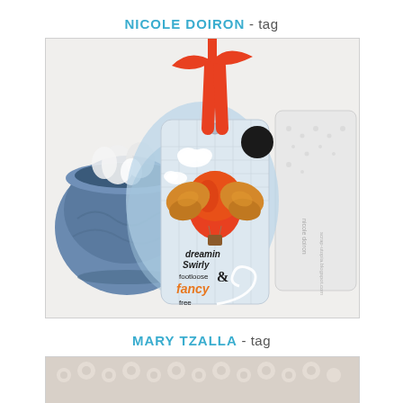NICOLE DOIRON - tag
[Figure (photo): A decorative handmade tag with an orange ribbon, featuring a hot air balloon with butterfly wings, clouds, and text reading 'dreamin, Swirly, footloose & fancy free' on a blue watercolor background. The tag is displayed with a blue ceramic bowl filled with white flowers and a white lace-covered cylindrical object.]
MARY TZALLA - tag
[Figure (photo): Partial view of a lace-decorated craft project, white lace pattern visible at the bottom of the page.]